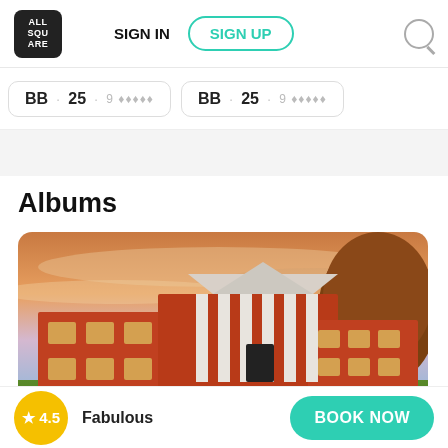ALL SQUARE | SIGN IN | SIGN UP
[Figure (screenshot): Score strip showing two score cards with numbers and hole ratings (partially cropped)]
Albums
[Figure (photo): A large red brick building with white columns and a pediment, photographed at sunset with dramatic orange and pink sky]
★ 4.5  Fabulous
BOOK NOW